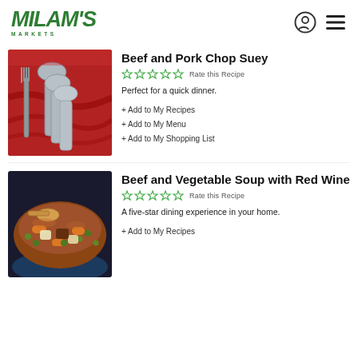Milam's Markets
Beef and Pork Chop Suey
Rate this Recipe
Perfect for a quick dinner.
+ Add to My Recipes
+ Add to My Menu
+ Add to My Shopping List
Beef and Vegetable Soup with Red Wine
Rate this Recipe
A five-star dining experience in your home.
+ Add to My Recipes